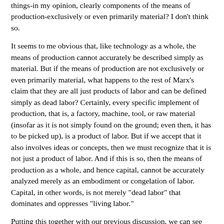things-in my opinion, clearly components of the means of production-exclusively or even primarily material? I don't think so.
It seems to me obvious that, like technology as a whole, the means of production cannot accurately be described simply as material. But if the means of production are not exclusively or even primarily material, what happens to the rest of Marx's claim that they are all just products of labor and can be defined simply as dead labor? Certainly, every specific implement of production, that is, a factory, machine, tool, or raw material (insofar as it is not simply found on the ground; even then, it has to be picked up), is a product of labor. But if we accept that it also involves ideas or concepts, then we must recognize that it is not just a product of labor. And if this is so, then the means of production as a whole, and hence capital, cannot be accurately analyzed merely as an embodiment or congelation of labor. Capital, in other words, is not merely "dead labor" that dominates and oppresses "living labor."
Putting this together with our previous discussion, we can see that Marx's conception of capital is seriously flawed. Capital, the means of production used to exploit living labor, is neither purely material nor purely "dead labor," but rather a combination...